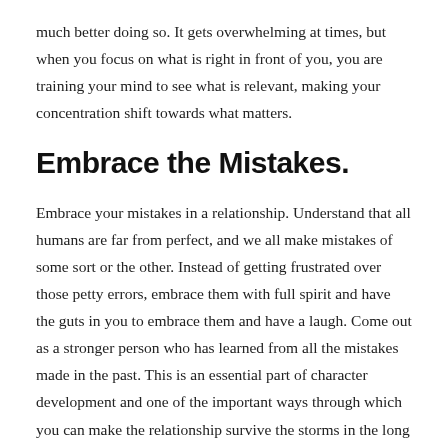much better doing so. It gets overwhelming at times, but when you focus on what is right in front of you, you are training your mind to see what is relevant, making your concentration shift towards what matters.
Embrace the Mistakes.
Embrace your mistakes in a relationship. Understand that all humans are far from perfect, and we all make mistakes of some sort or the other. Instead of getting frustrated over those petty errors, embrace them with full spirit and have the guts in you to embrace them and have a laugh. Come out as a stronger person who has learned from all the mistakes made in the past. This is an essential part of character development and one of the important ways through which you can make the relationship survive the storms in the long term. It is, therefore, highly beneficial when you are always on the path of learning and unlearning instead of